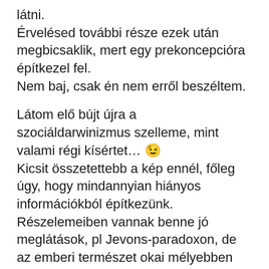látni.
Érvelésed további része ezek után megbicsaklik, mert egy prekoncepcióra építkezel fel.
Nem baj, csak én nem erről beszéltem.

Látom elő bújt újra a szociáldarwinizmus szelleme, mint valami régi kísértet... 😉
Kicsit összetettebb a kép ennél, főleg úgy, hogy mindannyian hiányos információkból építkezünk. Részelemeiben vannak benne jó meglátások, pl Jevons-paradoxon, de az emberi természet okai mélyebben keresendőek, ami ráadásként mesterségesen el is van tolva az egyik irányba.
Amúgy a védikus irodalom a mai kort vas kornak/Kali-jugának hívja, ami nagyon találó, és felettébb érdekes is. Idézek egy